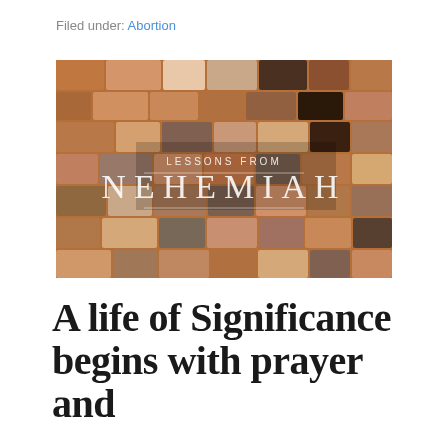Filed under: Abortion
[Figure (photo): A wall of stacked old bricks in various shades of brown, red, orange and dark tones. Overlaid text reads 'LESSONS FROM' in small spaced caps above large serif letters spelling 'NEHEMIAH' with a horizontal line beneath it.]
A life of Significance begins with prayer and